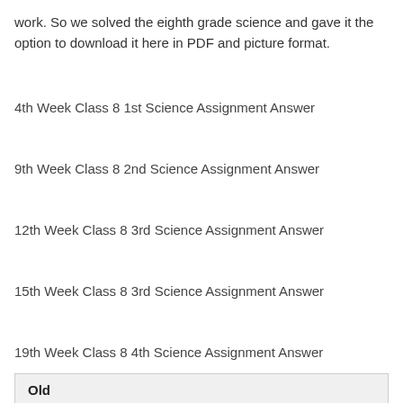work. So we solved the eighth grade science and gave it the option to download it here in PDF and picture format.
4th Week Class 8 1st Science Assignment Answer
9th Week Class 8 2nd Science Assignment Answer
12th Week Class 8 3rd Science Assignment Answer
15th Week Class 8 3rd Science Assignment Answer
19th Week Class 8 4th Science Assignment Answer
Old